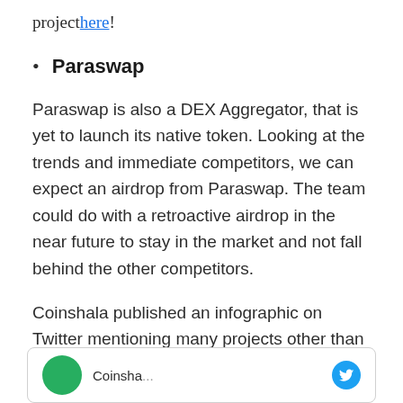project here!
Paraswap
Paraswap is also a DEX Aggregator, that is yet to launch its native token. Looking at the trends and immediate competitors, we can expect an airdrop from Paraswap. The team could do with a retroactive airdrop in the near future to stay in the market and not fall behind the other competitors.
Coinshala published an infographic on Twitter mentioning many projects other than the 6 we mentioned. You can check them below.
[Figure (screenshot): Twitter post preview box with Coinshala logo (green circle avatar) on the left and Twitter bird icon on the right]